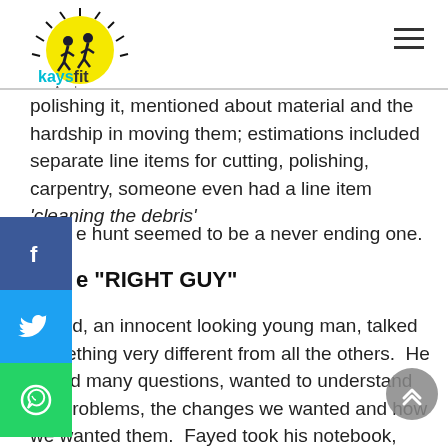kaysfit Academy
polishing it, mentioned about material and the hardship in moving them; estimations included separate line items for cutting, polishing, carpentry, someone even had a line item 'cleaning the debris'
e hunt seemed to be a never ending one.
e “RIGHT GUY”
Fayed, an innocent looking young man, talked something very different from all the others.  He asked many questions, wanted to understand the problems, the changes we wanted and how we wanted them.  Fayed took his notebook, drew pictures, used for explaining his ideas, took measurements and also carefully written down all the